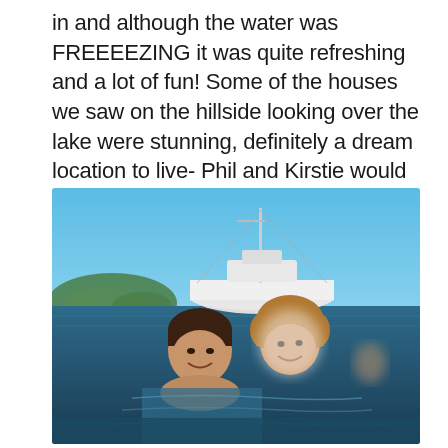in and although the water was FREEEEZING it was quite refreshing and a lot of fun! Some of the houses we saw on the hillside looking over the lake were stunning, definitely a dream location to live- Phil and Kirstie would love it!
[Figure (photo): Two women swimming in open water with a white sailboat visible behind them and an island with green hills in the background under a blue sky.]